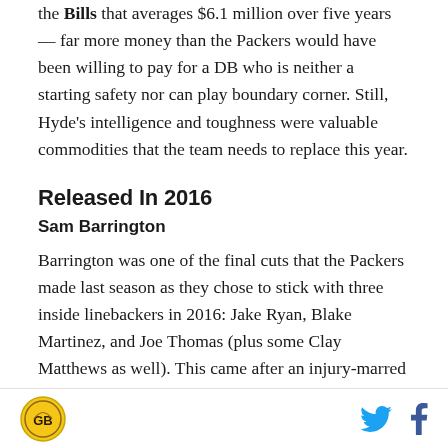the Bills that averages $6.1 million over five years — far more money than the Packers would have been willing to pay for a DB who is neither a starting safety nor can play boundary corner. Still, Hyde's intelligence and toughness were valuable commodities that the team needs to replace this year.
Released In 2016
Sam Barrington
Barrington was one of the final cuts that the Packers made last season as they chose to stick with three inside linebackers in 2016: Jake Ryan, Blake Martinez, and Joe Thomas (plus some Clay Matthews as well). This came after an injury-marred career, as Barrington
[logo] [twitter] [facebook]